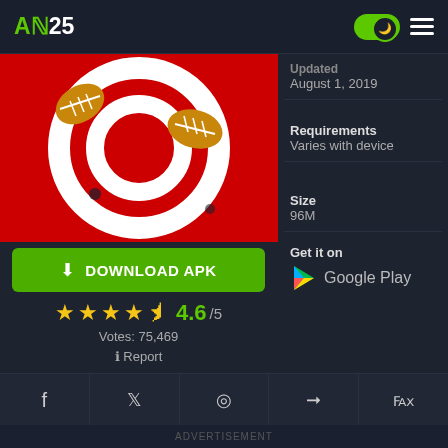AN25
[Figure (screenshot): App icon/banner image showing footballs on a red and white target background]
DOWNLOAD APK
4.6/5
Votes: 75,469
Report
Updated
August 1, 2019
Requirements
Varies with device
Size
96M
Get it on
Google Play
ADVERTISEMENT
DESCRIPTION